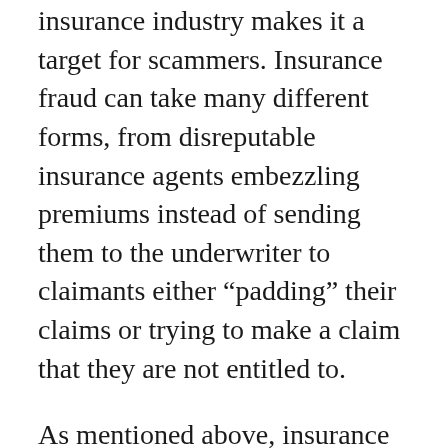insurance industry makes it a target for scammers. Insurance fraud can take many different forms, from disreputable insurance agents embezzling premiums instead of sending them to the underwriter to claimants either “padding” their claims or trying to make a claim that they are not entitled to.
As mentioned above, insurance fraud (not including health insurance fraud) costs $40 billion per year. Insurance fraud is especially common after natural disasters occur. The FBI points out that in the wake of Hurricane Katrina, of the $80 billion of government funding that was spent on reconstruction, $6 billion may have been lost through insurance